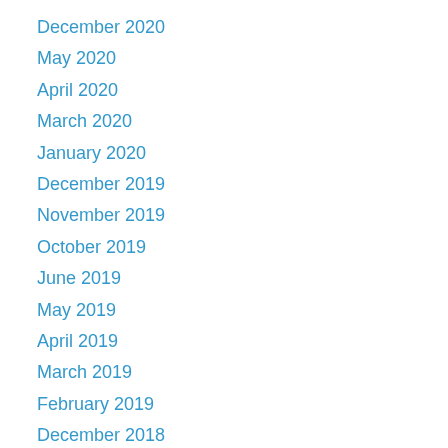December 2020
May 2020
April 2020
March 2020
January 2020
December 2019
November 2019
October 2019
June 2019
May 2019
April 2019
March 2019
February 2019
December 2018
November 2018
October 2018
July 2018
June 2018
May 2018
April 2018